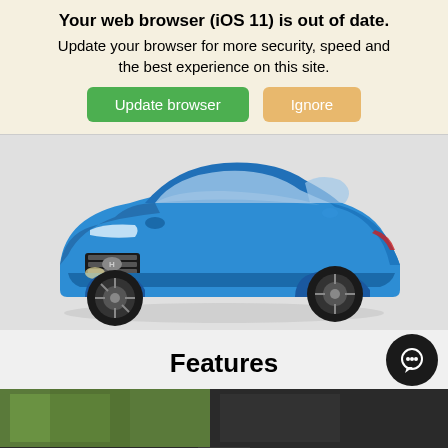Your web browser (iOS 11) is out of date. Update your browser for more security, speed and the best experience on this site.
Update browser | Ignore
[Figure (photo): Blue Hyundai Tucson SUV on a light grey background, three-quarter front view]
Features
[Figure (photo): Partial view of an outdoor scene with green foliage on left and dark car interior on right]
Search | Saved | [garage icon] | Share | Contact